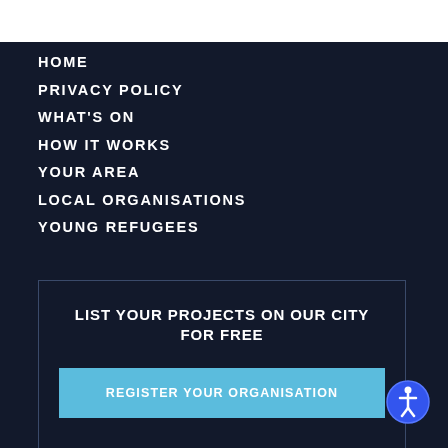HOME
PRIVACY POLICY
WHAT'S ON
HOW IT WORKS
YOUR AREA
LOCAL ORGANISATIONS
YOUNG REFUGEES
LIST YOUR PROJECTS ON OUR CITY FOR FREE
REGISTER YOUR ORGANISATION